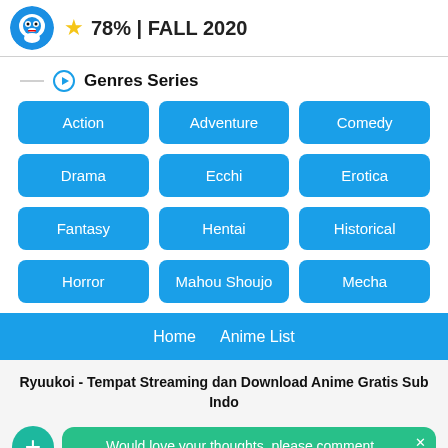78% | FALL 2020
Genres Series
Action
Adventure
Comedy
Drama
Ecchi
Erotica
Fantasy
Hentai
Historical
Horror
Mahou Shoujo
Mecha
Home   Anime List
Ryuukoi - Tempat Streaming dan Download Anime Gratis Sub Indo
Would love your thoughts, please comment.
Made By Agecuk